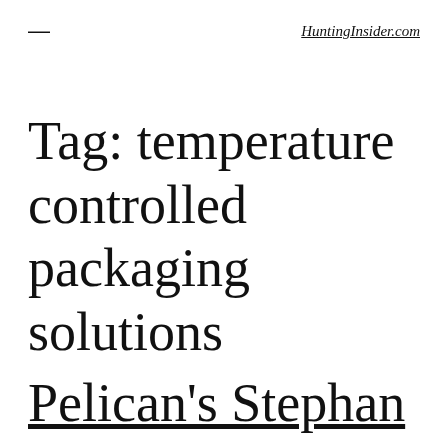≡   HuntingInsider.com
Tag: temperature controlled packaging solutions
Pelican's Stephan